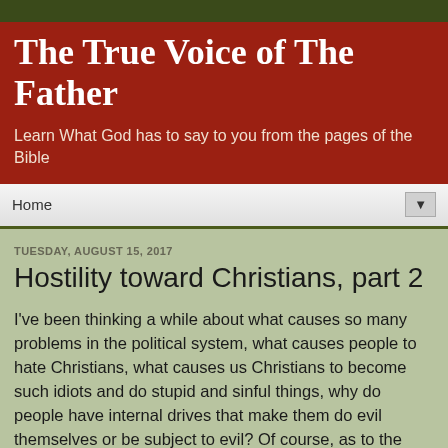The True Voice of The Father
Learn What God has to say to you from the pages of the Bible
Home
TUESDAY, AUGUST 15, 2017
Hostility toward Christians, part 2
I've been thinking a while about what causes so many problems in the political system, what causes people to hate Christians, what causes us Christians to become such idiots and do stupid and sinful things, why do people have internal drives that make them do evil themselves or be subject to evil? Of course, as to the last, we can immediately